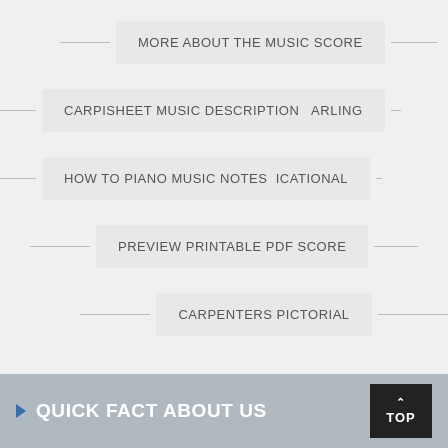MORE ABOUT THE MUSIC SCORE
CARPISHEET MUSIC DESCRIPTION   ARLING
HOW TO PIANO MUSIC NOTES   ICATIONAL
PREVIEW PRINTABLE PDF SCORE
CARPENTERS PICTORIAL
QUICK FACT ABOUT US